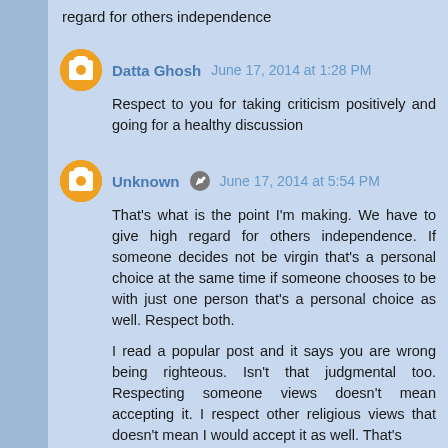regard for others independence
Datta Ghosh  June 17, 2014 at 1:28 PM
Respect to you for taking criticism positively and going for a healthy discussion
Unknown  June 17, 2014 at 5:54 PM
That's what is the point I'm making. We have to give high regard for others independence. If someone decides not be virgin that's a personal choice at the same time if someone chooses to be with just one person that's a personal choice as well. Respect both.

I read a popular post and it says you are wrong being righteous. Isn't that judgmental too. Respecting someone views doesn't mean accepting it. I respect other religious views that doesn't mean I would accept it as well. That's